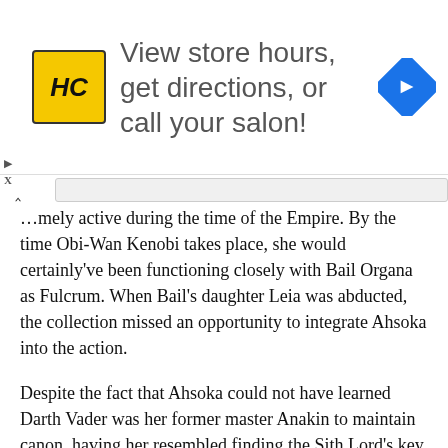[Figure (infographic): Advertisement banner showing HC (Hair Club) logo in yellow square, text 'View store hours, get directions, or call your salon!' in gray sans-serif, and a blue navigation diamond icon on the right.]
...mely active during the time of the Empire. By the time Obi-Wan Kenobi takes place, she would certainly've been functioning closely with Bail Organa as Fulcrum. When Bail's daughter Leia was abducted, the collection missed an opportunity to integrate Ahsoka into the action.
Despite the fact that Ahsoka could not have learned Darth Vader was her former master Anakin to maintain canon, having her resembled finding the Sith Lord's key would've been enjoying watch. With Ahsoka's extra current live-action looks, having her cameo and discover Kenobi was still to life would've been possible.